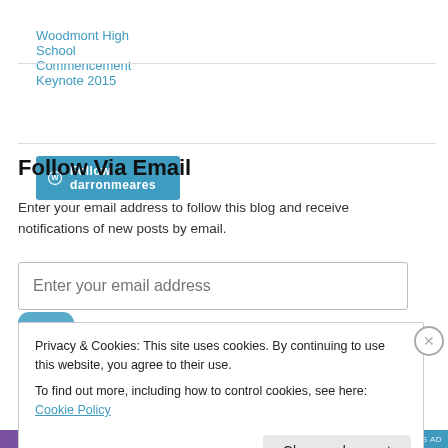Woodmont High School Commencement Keynote 2015
[Figure (other): Follow darronmeares button with WordPress logo]
Follow Via Email
Enter your email address to follow this blog and receive notifications of new posts by email.
Enter your email address (input field)
Privacy & Cookies: This site uses cookies. By continuing to use this website, you agree to their use.
To find out more, including how to control cookies, see here: Cookie Policy
Close and accept